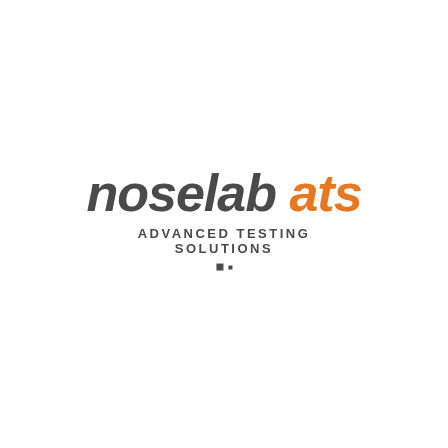[Figure (logo): Noselab ATS logo. 'noselab' in dark gray italic bold, 'ats' in orange italic bold, tagline 'ADVANCED TESTING SOLUTIONS' in dark gray small caps below, followed by two square dots.]